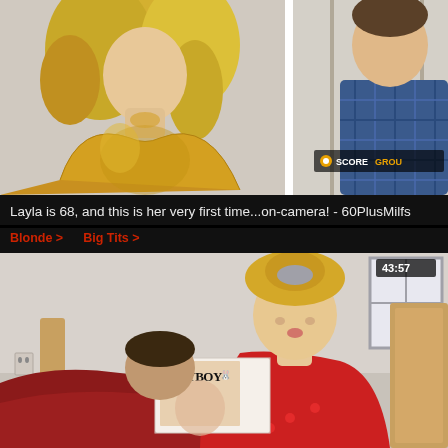[Figure (photo): Video thumbnail showing a blonde woman in a gold top and a man in a plaid shirt, with SCOREGROUP watermark]
Layla is 68, and this is her very first time...on-camera! - 60PlusMilfs
Blonde >
Big Tits >
[Figure (photo): Video thumbnail showing a blonde woman in red pajamas reading a Playboy magazine with a man beside her on a bed, with timer 43:57]